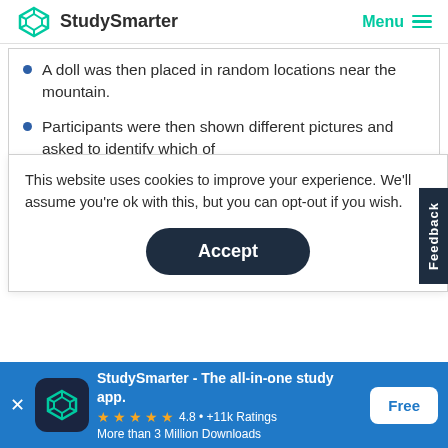StudySmarter  Menu
A doll was then placed in random locations near the mountain.
Participants were then shown different pictures and asked to identify which of
This website uses cookies to improve your experience. We'll assume you're ok with this, but you can opt-out if you wish.
Accept
Feedback
StudySmarter - The all-in-one study app.
★★★★★  4.8 • +11k Ratings
More than 3 Million Downloads
Free